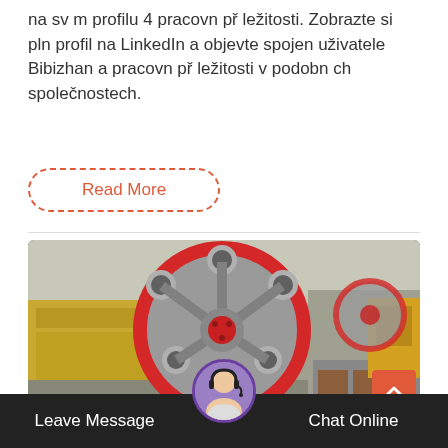na sv m profilu 4 pracovn př ležitosti. Zobrazte si pln profil na LinkedIn a objevte spojen uživatele Bibizhan a pracovn př ležitosti v podobn ch společnostech.
Read More
[Figure (photo): Industrial jaw crusher machine with large red and grey flywheel visible in the foreground, set in a factory/warehouse environment. Additional machinery and a forklift visible in the background.]
Leave Message   Chat Online